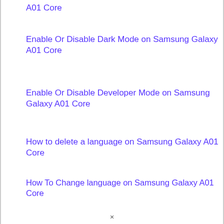A01 Core
Enable Or Disable Dark Mode on Samsung Galaxy A01 Core
Enable Or Disable Developer Mode on Samsung Galaxy A01 Core
How to delete a language on Samsung Galaxy A01 Core
How To Change language on Samsung Galaxy A01 Core
Download & Install WhatsApp on Samsung Galaxy A01 Core
×